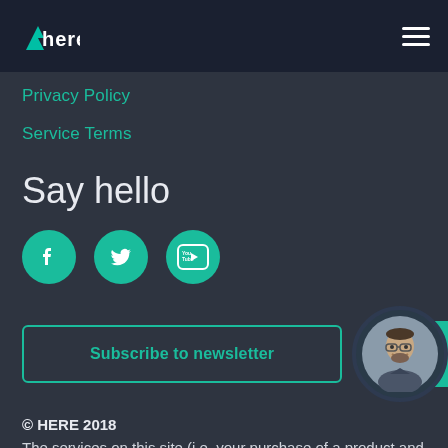HERE [logo] [hamburger menu]
Privacy Policy
Service Terms
Say hello
[Figure (infographic): Three teal circular social media icons: Facebook (f), Twitter (bird), YouTube (You Tube)]
[Figure (infographic): Subscribe to newsletter button (teal border, teal text) and Live Chat widget with circular avatar photo of a man with glasses and teal Live Chat label]
© HERE 2018
The services on this site (i.e. your purchase of a product and related fulfilment services) are performed by HERE